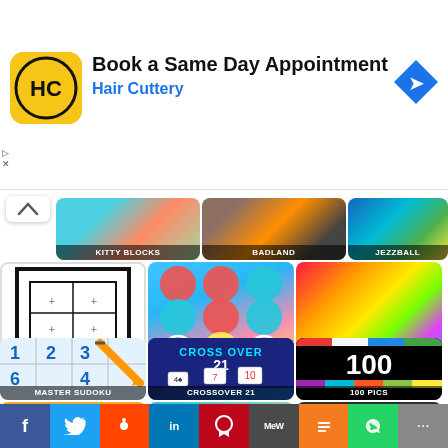[Figure (screenshot): Advertisement banner: Hair Cuttery - Book a Same Day Appointment]
[Figure (screenshot): Grid of game tiles: KITTY BLOCKS, BADLAND, JEZZBALL (partial top row), LINK LINE PUZZ..., JIGSAW PALACE, HEX PUZZLE (middle row), MASTER SUDOKU, CROSSOVER 21, 100 PICS (lower row), and partial bottom row with pirate game, bird game, dark game]
[Figure (infographic): Social media sharing bar: Facebook, Twitter, Reddit, LinkedIn, Pinterest, MeWe, Mix, WhatsApp, Share]